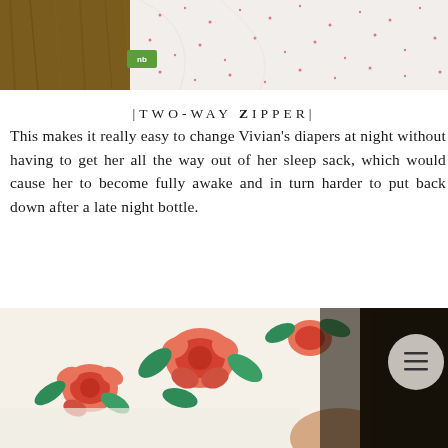[Figure (photo): Close-up photo of a white fabric with small pink/red dot pattern, resting on a wooden surface. A green label tag with 'nb' is visible at the edge of the fabric.]
|TWO-WAY ZIPPER|
This makes it really easy to change Vivian's diapers at night without having to get her all the way out of her sleep sack, which would cause her to become fully awake and in turn harder to put back down after a late night bottle.
[Figure (photo): Photo of a baby wearing a floral sleep sack with red roses and green leaves on white background. A circular menu button icon is visible in the upper right corner of the photo.]